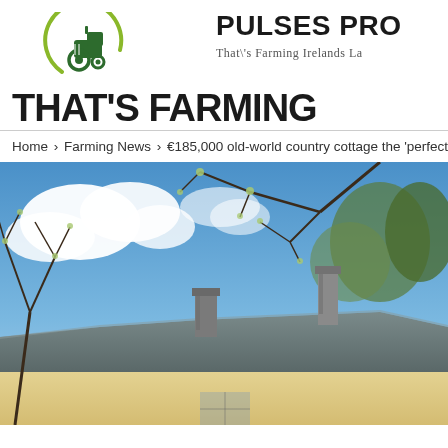[Figure (logo): That's Farming logo with green tractor icon and crescent, plus PULSES PRO text and tagline 'That\'s Farming Irelands La']
Home › Farming News › €185,000 old-world country cottage the 'perfect hidea
[Figure (photo): Outdoor photo showing rooftops of a yellow country cottage with chimneys, blue sky with clouds, and bare tree branches in foreground/background]